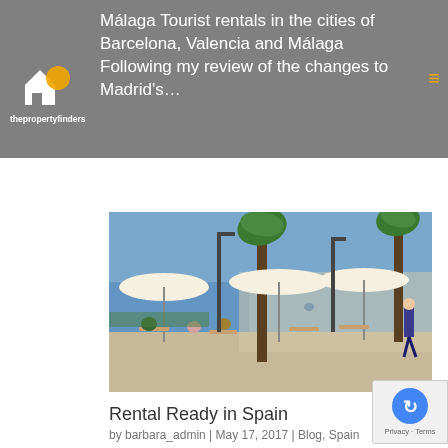Málaga Tourist rentals in the cities of Barcelona, Valencia and Málaga Following my review of the changes to Madrid's...
[Figure (photo): Outdoor restaurant terrace along a promenade in Spain with white umbrellas, palm trees, diners seated at tables, and a person walking on the right side; sea visible in the background under a blue sky.]
Rental Ready in Spain
by barbara_admin | May 17, 2017 | Blog, Spain
Home » Blog » Page 3 The Property Finders Tell you how to rent Spanish property legally  Rental Ready in Spain The Background Spain's central